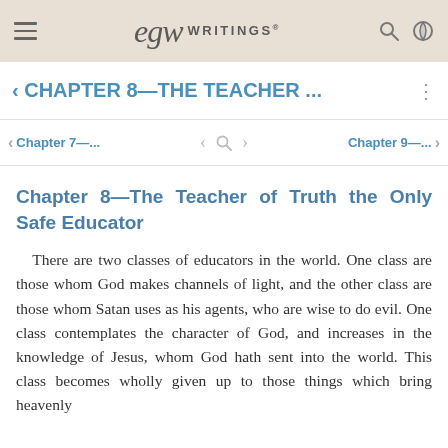EGW WRITINGS®
< CHAPTER 8—THE TEACHER …
< Chapter 7—…   <   >   Chapter 9—…   >
Chapter 8—The Teacher of Truth the Only Safe Educator
There are two classes of educators in the world. One class are those whom God makes channels of light, and the other class are those whom Satan uses as his agents, who are wise to do evil. One class contemplates the character of God, and increases in the knowledge of Jesus, whom God hath sent into the world. This class becomes wholly given up to those things which bring heavenly